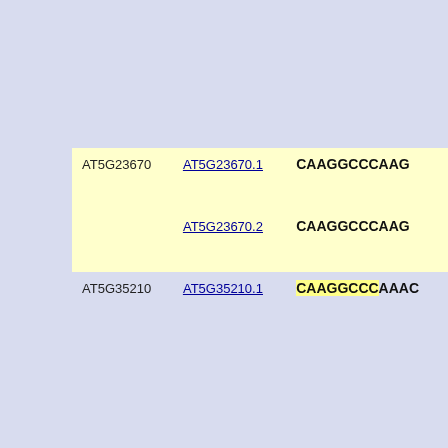| Gene ID | Transcript | Sequence |
| --- | --- | --- |
| AT5G23670 | AT5G23670.1 | CAAGGCCCAAG |
|  | AT5G23670.2 | CAAGGCCCAAG |
| AT5G35210 | AT5G35210.1 | CAAGGCCCAAAC |